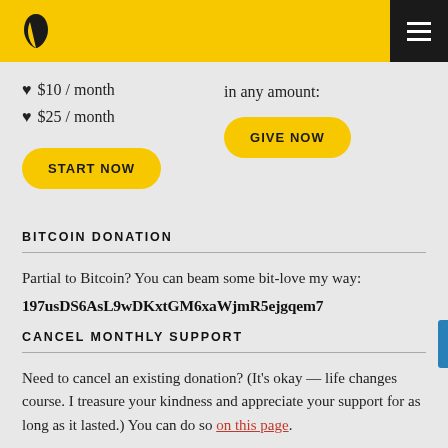Navigation bar with logo and menu button
♥ $10 / month
♥ $25 / month
in any amount:
START NOW
GIVE NOW
BITCOIN DONATION
Partial to Bitcoin? You can beam some bit-love my way:
197usDS6AsL9wDKxtGM6xaWjmR5ejgqem7
CANCEL MONTHLY SUPPORT
Need to cancel an existing donation? (It's okay — life changes course. I treasure your kindness and appreciate your support for as long as it lasted.) You can do so on this page.